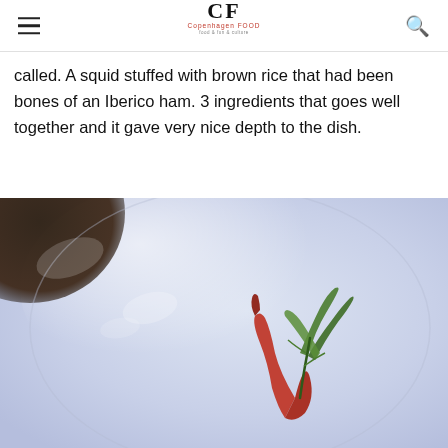CF Copenhagen FOOD
called. A squid stuffed with brown rice that had been bones of an Iberico ham. 3 ingredients that goes well together and it gave very nice depth to the dish.
[Figure (photo): Close-up photo of a fine dining dish on a white plate with a light blue tint. A red chili pepper and green herb/garnish are plated artistically on the white plate. A dark circular element (possibly a bowl or dark plate) is partially visible in the upper left corner.]